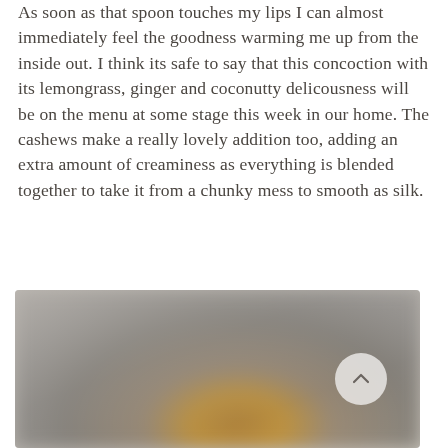As soon as that spoon touches my lips I can almost immediately feel the goodness warming me up from the inside out. I think its safe to say that this concoction with its lemongrass, ginger and coconutty delicousness will be on the menu at some stage this week in our home. The cashews make a really lovely addition too, adding an extra amount of creaminess as everything is blended together to take it from a chunky mess to smooth as silk.
[Figure (photo): A blurred close-up photo of a bowl of soup, showing warm golden/brown tones in the center with grey/silver bowl edges, with a circular back-to-top navigation button overlaid in the upper right area of the image.]